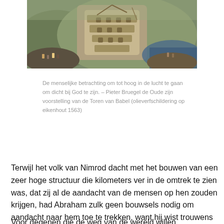[Figure (photo): Painting of the Tower of Babel by Pieter Bruegel de Oude, showing a large spiraling tower under construction with workers and figures around it, water in the background.]
De menselijke betrachting om tot hoog in de lucht te gaan om dicht bij God te zijn. – Pieter Bruegel de Oude zijn voorstelling van de Toren van Babel (olieverfschildering op eikenhout 1563)
Terwijl het volk van Nimrod dacht met het bouwen van een zeer hoge structuur die kilometers ver in de omtrek te zien was, dat zij al de aandacht van de mensen op hen zouden krijgen, had Abraham zulk geen bouwsels nodig om aandacht naar hem toe te trekken, want hij wist trouwens dat alle aandacht naar zijn God hoorde te gaan.
Voor degenen die de weg van de wereld willen